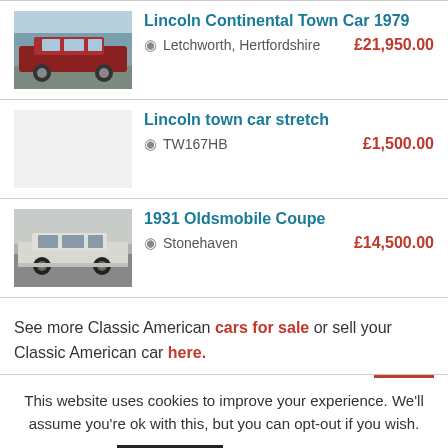Lincoln Continental Town Car 1979 | Letchworth, Hertfordshire | £21,950.00
Lincoln town car stretch | TW167HB | £1,500.00
1931 Oldsmobile Coupe | Stonehaven | £14,500.00
See more Classic American cars for sale or sell your Classic American car here.
This website uses cookies to improve your experience. We'll assume you're ok with this, but you can opt-out if you wish.